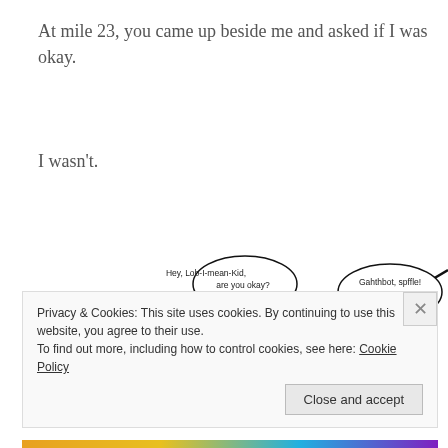At mile 23, you came up beside me and asked if I was okay.
I wasn't.
[Figure (illustration): Hand-drawn stick figure cartoon showing two runners on a hill. Left figure with a laurel wreath has a speech bubble saying 'Hey, Lob-I-mean-Kid, are you okay?' Right figure hunched over has a speech bubble saying 'Gahthbot, spffle! Nofibble dikkit!' A diagonal hill line is drawn behind them.]
Privacy & Cookies: This site uses cookies. By continuing to use this website, you agree to their use.
To find out more, including how to control cookies, see here: Cookie Policy
Close and accept